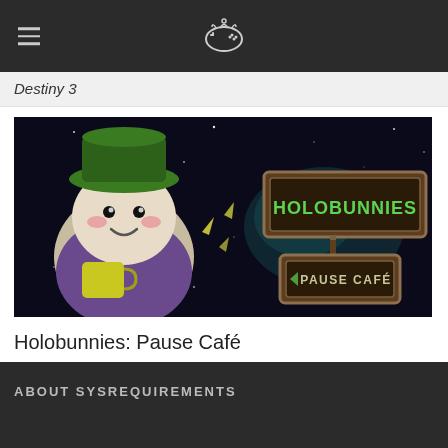≡  [gamepad icon]
Destiny 3
[Figure (illustration): Holobunnies: Pause Café game promotional image. A cute cartoon bean-shaped character wearing a green hat and purple clothes holds a yellow coffee mug. In the background, a space scene with stars and nebula. Two wooden signs read 'HOLOBUNNIES' and 'PAUSE CAFÉ' in green retro lettering.]
Holobunnies: Pause Café
ABOUT SYSREQUIREMENTS